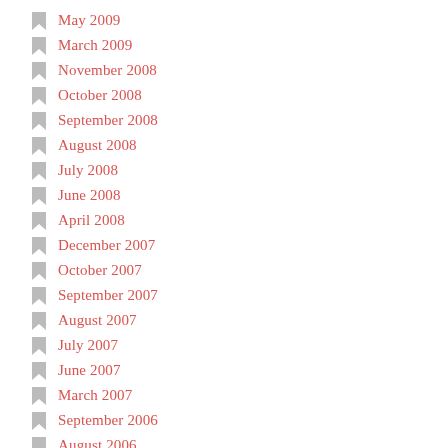May 2009
March 2009
November 2008
October 2008
September 2008
August 2008
July 2008
June 2008
April 2008
December 2007
October 2007
September 2007
August 2007
July 2007
June 2007
March 2007
September 2006
August 2006